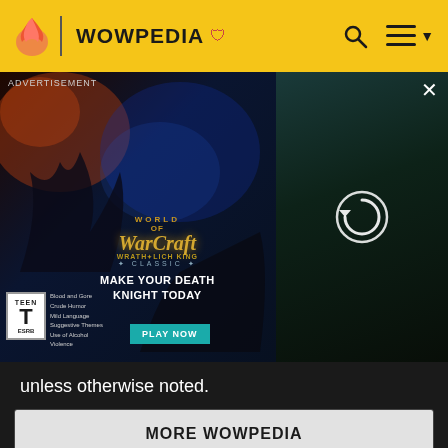WOWPEDIA
[Figure (screenshot): World of Warcraft: Wrath of the Lich King Classic advertisement banner with ESRB Teen rating, 'MAKE YOUR DEATH KNIGHT TODAY' tagline, PLAY NOW button, and a loading screen on the right side]
unless otherwise noted.
MORE WOWPEDIA
1 Armor set
2 Death knight